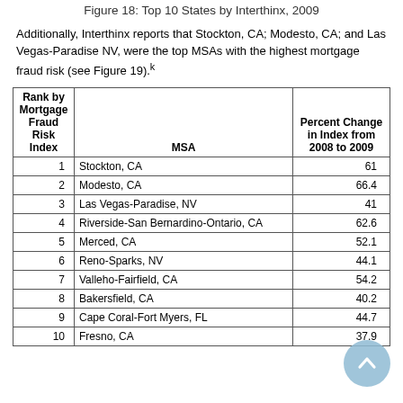Figure 18: Top 10 States by Interthinx, 2009
Additionally, Interthinx reports that Stockton, CA; Modesto, CA; and Las Vegas-Paradise NV, were the top MSAs with the highest mortgage fraud risk (see Figure 19).k
| Rank by Mortgage Fraud Risk Index | MSA | Percent Change in Index from 2008 to 2009 |
| --- | --- | --- |
| 1 | Stockton, CA | 61 |
| 2 | Modesto, CA | 66.4 |
| 3 | Las Vegas-Paradise, NV | 41 |
| 4 | Riverside-San Bernardino-Ontario, CA | 62.6 |
| 5 | Merced, CA | 52.1 |
| 6 | Reno-Sparks, NV | 44.1 |
| 7 | Valleho-Fairfield, CA | 54.2 |
| 8 | Bakersfield, CA | 40.2 |
| 9 | Cape Coral-Fort Myers, FL | 44.7 |
| 10 | Fresno, CA | 37.9 |